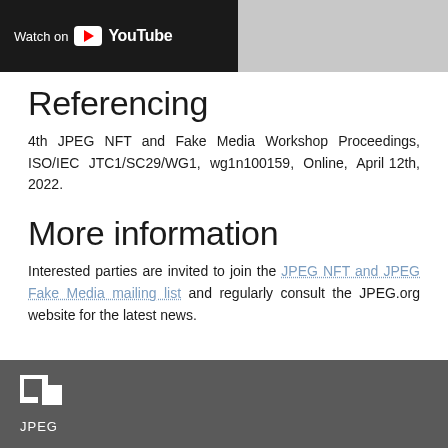[Figure (screenshot): YouTube video embed with 'Watch on YouTube' button visible, browser interface partial screenshot on right]
Referencing
4th JPEG NFT and Fake Media Workshop Proceedings, ISO/IEC JTC1/SC29/WG1, wg1n100159, Online, April 12th, 2022.
More information
Interested parties are invited to join the JPEG NFT and JPEG Fake Media mailing list and regularly consult the JPEG.org website for the latest news.
JPEG